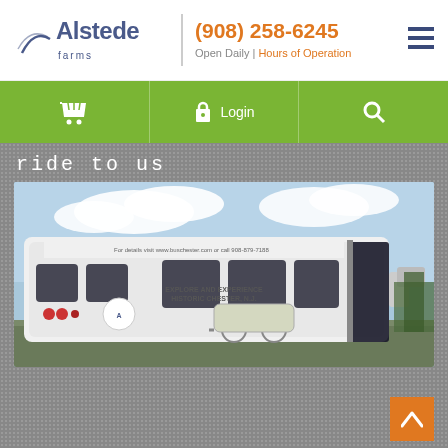Alstede Farms — (908) 258-6245 | Open Daily | Hours of Operation
ride to us
[Figure (photo): White shuttle bus with text 'Explore and Experience Historic Chester, N.J.' and carriage graphic, door open, parked outdoors]
know more